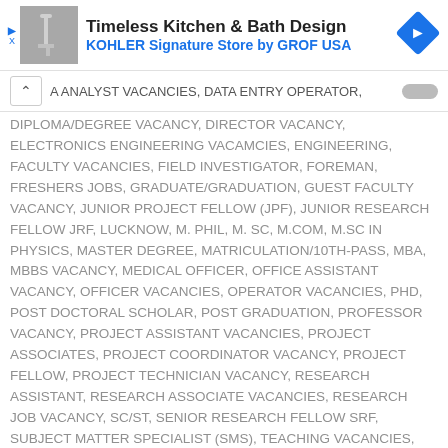[Figure (screenshot): Advertisement banner for Timeless Kitchen & Bath Design, KOHLER Signature Store by GROF USA, with a photo of a faucet and a blue directional sign icon]
A ANALYST VACANCIES, DATA ENTRY OPERATOR, DIPLOMA/DEGREE VACANCY, DIRECTOR VACANCY, ELECTRONICS ENGINEERING VACAMCIES, ENGINEERING, FACULTY VACANCIES, FIELD INVESTIGATOR, FOREMAN, FRESHERS JOBS, GRADUATE/GRADUATION, GUEST FACULTY VACANCY, JUNIOR PROJECT FELLOW (JPF), JUNIOR RESEARCH FELLOW JRF, LUCKNOW, M. PHIL, M. SC, M.COM, M.SC IN PHYSICS, MASTER DEGREE, MATRICULATION/10TH-PASS, MBA, MBBS VACANCY, MEDICAL OFFICER, OFFICE ASSISTANT VACANCY, OFFICER VACANCIES, OPERATOR VACANCIES, PHD, POST DOCTORAL SCHOLAR, POST GRADUATION, PROFESSOR VACANCY, PROJECT ASSISTANT VACANCIES, PROJECT ASSOCIATES, PROJECT COORDINATOR VACANCY, PROJECT FELLOW, PROJECT TECHNICIAN VACANCY, RESEARCH ASSISTANT, RESEARCH ASSOCIATE VACANCIES, RESEARCH JOB VACANCY, SC/ST, SENIOR RESEARCH FELLOW SRF, SUBJECT MATTER SPECIALIST (SMS), TEACHING VACANCIES, WALK IN INTERVIEW, YOGA TEACHER
TAGGED WITH: UNIVERSITY RECRUITMENT